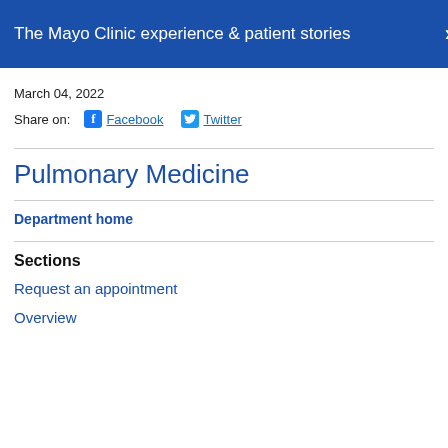The Mayo Clinic experience & patient stories
March 04, 2022
Share on: Facebook Twitter
Pulmonary Medicine
Department home
Sections
Request an appointment
Overview